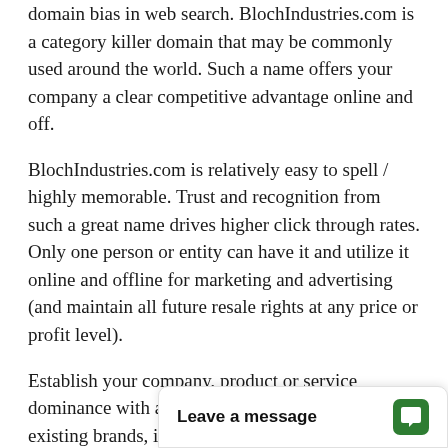domain bias in web search. BlochIndustries.com is a category killer domain that may be commonly used around the world. Such a name offers your company a clear competitive advantage online and off.
BlochIndustries.com is relatively easy to spell / highly memorable. Trust and recognition from such a great name drives higher click through rates. Only one person or entity can have it and utilize it online and offline for marketing and advertising (and maintain all future resale rights at any price or profit level).
Establish your company, product or service dominance with an outstanding .Com brand. For existing brands, it is the ideal opportunity to re-enforce and protect your brand.
Marketabilit
Leave a message